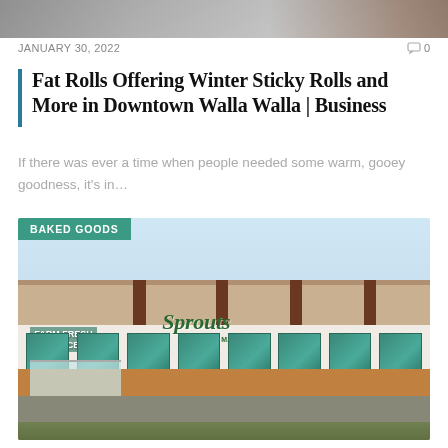[Figure (photo): Top portion of a photo, partially cropped — appears to show people in a bakery or food setting]
JANUARY 30, 2022
0
Fat Rolls Offering Winter Sticky Rolls and More in Downtown Walla Walla | Business
If there was ever a time when people needed some warm, gooey goodness, it's in...
[Figure (photo): Storefront of a Sprouts Farmers Market grocery store with BAKED GOODS badge overlay. The building shows green signage reading SPROUTS FARMERS MARKET, Farm Fresh Produce signage on the left, large teal-green windows, brick lower walls, and entry doors at bottom left.]